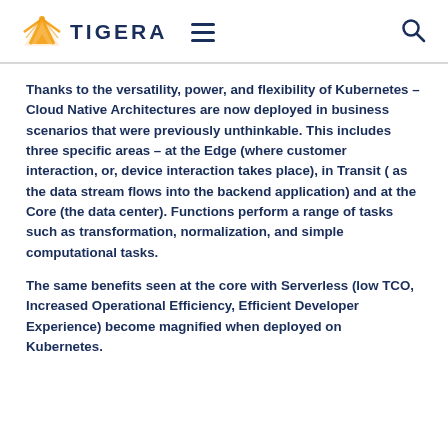TIGERA
Thanks to the versatility, power, and flexibility of Kubernetes – Cloud Native Architectures are now deployed in business scenarios that were previously unthinkable. This includes three specific areas – at the Edge (where customer interaction, or, device interaction takes place), in Transit ( as the data stream flows into the backend application) and at the Core (the data center). Functions perform a range of tasks such as transformation, normalization, and simple computational tasks.
The same benefits seen at the core with Serverless (low TCO, Increased Operational Efficiency, Efficient Developer Experience) become magnified when deployed on Kubernetes.